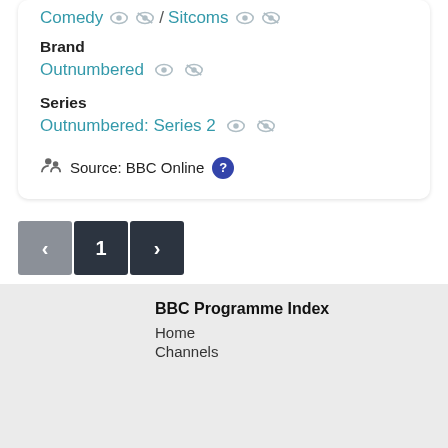Comedy / Sitcoms
Brand
Outnumbered
Series
Outnumbered: Series 2
Source: BBC Online
1
BBC Programme Index
Home
Channels